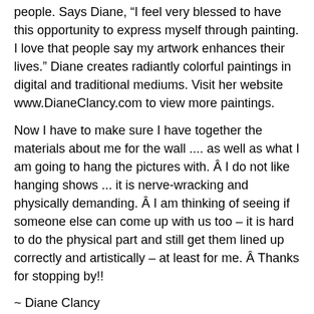people. Says Diane, “I feel very blessed to have this opportunity to express myself through painting. I love that people say my artwork enhances their lives.” Diane creates radiantly colorful paintings in digital and traditional mediums. Visit her website www.DianeClancy.com to view more paintings.
Now I have to make sure I have together the materials about me for the wall .... as well as what I am going to hang the pictures with. Â I do not like hanging shows ... it is nerve-wracking and physically demanding. Â I am thinking of seeing if someone else can come up with us too – it is hard to do the physical part and still get them lined up correctly and artistically – at least for me. Â Thanks for stopping by!!
~ Diane Clancy
Technorati Tags: Technical issues, Brattleboro Gallery Walk, Metropolis
Share this: